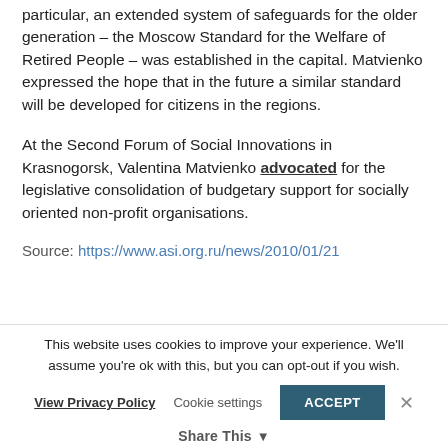particular, an extended system of safeguards for the older generation – the Moscow Standard for the Welfare of Retired People – was established in the capital. Matvienko expressed the hope that in the future a similar standard will be developed for citizens in the regions.
At the Second Forum of Social Innovations in Krasnogorsk, Valentina Matvienko advocated for the legislative consolidation of budgetary support for socially oriented non-profit organisations.
Source: https://www.asi.org.ru/news/2010/01/21
This website uses cookies to improve your experience. We'll assume you're ok with this, but you can opt-out if you wish.
View Privacy Policy   Cookie settings   ACCEPT   Share This